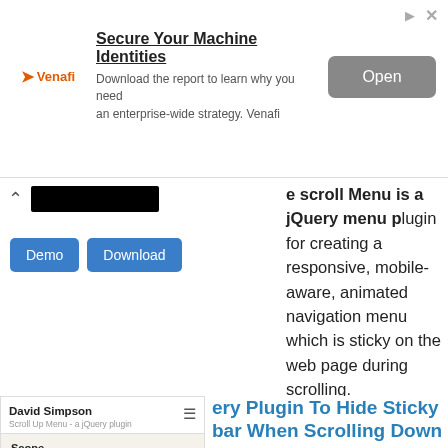[Figure (screenshot): Venafi advertisement banner with logo, title 'Secure Your Machine Identities', description text, and Open button]
scroll Menu is a jQuery menu plugin for creating a responsive, mobile-aware, animated navigation menu which is sticky on the web page during scrolling.
[Figure (screenshot): Preview card showing David Simpson Scroll Up Menu jQuery plugin demo page with Scope section]
jQuery Plugin To Hide Sticky Navbar When Scrolling Down - Scroll Up Menu
years ago - Menu - 29759 Views
Scroll Up Menu is a mobile-first jQuery plugin that auto hide the sticky top navigation menu when scrolling down the page, and show when scrolling up.